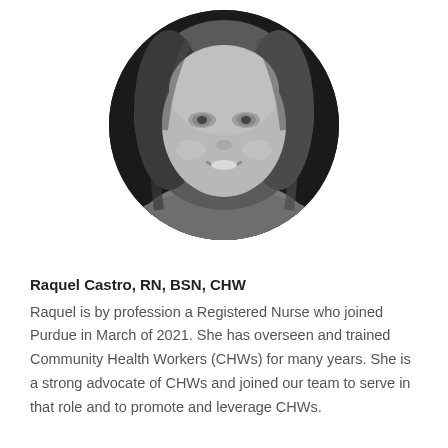[Figure (photo): Black and white circular cropped headshot photo of Raquel Castro, a woman with shoulder-length light hair, smiling, on a dark background.]
Raquel Castro, RN, BSN, CHW
Raquel is by profession a Registered Nurse who joined Purdue in March of 2021. She has overseen and trained Community Health Workers (CHWs) for many years. She is a strong advocate of CHWs and joined our team to serve in that role and to promote and leverage CHWs.